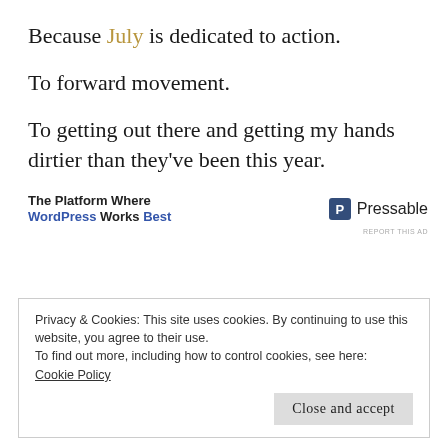Because July is dedicated to action.
To forward movement.
To getting out there and getting my hands dirtier than they've been this year.
[Figure (other): Pressable advertisement banner: 'The Platform Where WordPress Works Best' on the left, Pressable logo on the right]
Privacy & Cookies: This site uses cookies. By continuing to use this website, you agree to their use.
To find out more, including how to control cookies, see here:
Cookie Policy
Close and accept